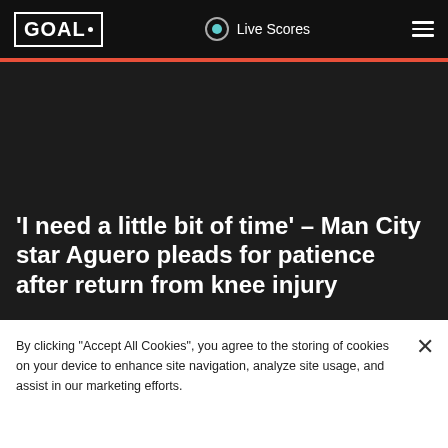GOAL  Live Scores
'I need a little bit of time' - Man City star Aguero pleads for patience after return from knee injury
GOAL
By clicking “Accept All Cookies”, you agree to the storing of cookies on your device to enhance site navigation, analyze site usage, and assist in our marketing efforts.